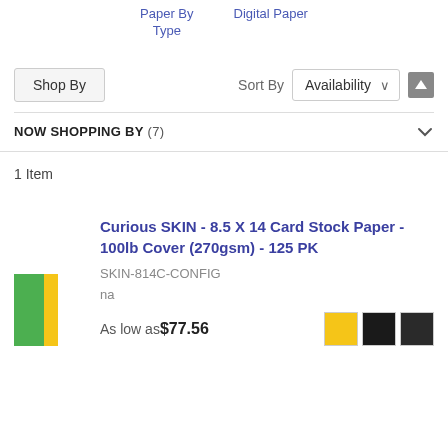Paper By Type   Digital Paper
Shop By
Sort By  Availability
NOW SHOPPING BY (7)
1 Item
Curious SKIN - 8.5 X 14 Card Stock Paper - 100lb Cover (270gsm) - 125 PK
SKIN-814C-CONFIG
na
As low as $77.56